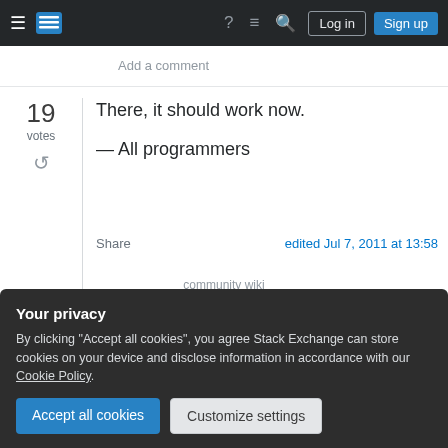[Figure (screenshot): Stack Exchange navigation bar with hamburger menu, logo, help icon, chat icon, search icon, Log in button, and Sign up button on dark background]
Add a comment
19
votes
There, it should work now.
— All programmers
Share
edited Jul 7, 2011 at 13:58
community wiki
Your privacy
By clicking "Accept all cookies", you agree Stack Exchange can store cookies on your device and disclose information in accordance with our Cookie Policy.
Accept all cookies
Customize settings
understand. Good programmers write code